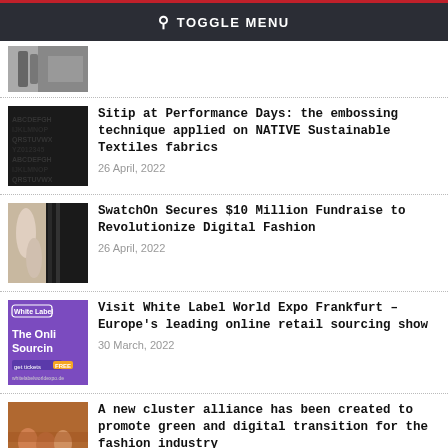TOGGLE MENU
[Figure (photo): Partial view of industrial textile machinery]
Sitip at Performance Days: the embossing technique applied on NATIVE Sustainable Textiles fabrics
26 April, 2022
[Figure (photo): Dark embossed fabric texture with repeating pattern]
SwatchOn Secures $10 Million Fundraise to Revolutionize Digital Fashion
26 April, 2022
[Figure (photo): Fashion models in pastel dresses against patterned background]
Visit White Label World Expo Frankfurt – Europe's leading online retail sourcing show
30 March, 2022
[Figure (photo): White Label World Expo promotional banner with purple background]
A new cluster alliance has been created to promote green and digital transition for the fashion industry
[Figure (photo): Group of people at a fashion industry event]